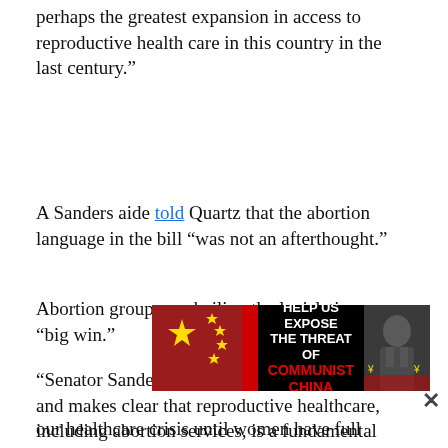perhaps the greatest expansion in access to reproductive health care in this country in the last century.”
A Sanders aide told Quartz that the abortion language in the bill “was not an afterthought.”
Abortion groups are hailing the legislation as a “big win.”
“Senator Sanders’ healthcare bill ends the debate and makes clear that reproductive healthcare, including abortion services, is a fundamental right—not just a privilege for the wealthy,” Ilyse Hogue of NARAL said in a statement. “The senator’s work to draft this legislation is a groundbreaking
[Figure (other): Advertisement banner: 'HELP US EXPOSE THE THREAT OF COMMUNIST CHINA' with Chinese flag imagery and photo of person on right]
our healthcare crisis until women have full access to